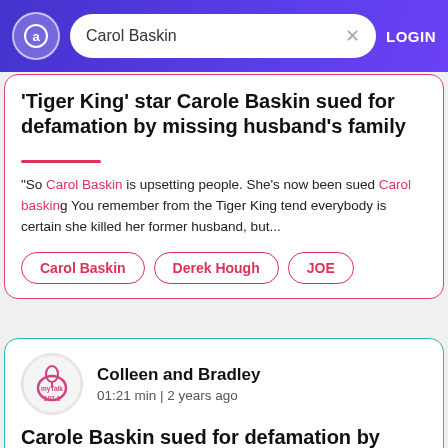Carol Baskin | LOGIN
'Tiger King' star Carole Baskin sued for defamation by missing husband's family
"So Carol Baskin is upsetting people. She's now been sued Carol basking You remember from the Tiger King tend everybody is certain she killed her former husband, but...
Carol Baskin
Derek Hough
JOE
Colleen and Bradley
01:21 min | 2 years ago
Carole Baskin sued for defamation by